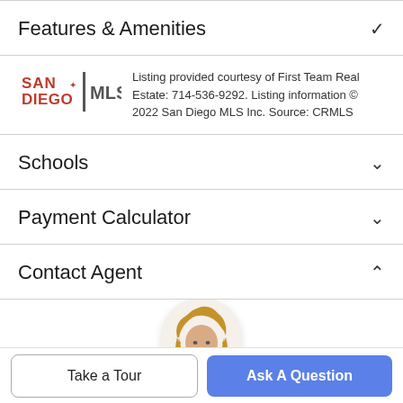Features & Amenities
Listing provided courtesy of First Team Real Estate: 714-536-9292. Listing information © 2022 San Diego MLS Inc. Source: CRMLS
Schools
Payment Calculator
Contact Agent
[Figure (photo): Agent profile photo – woman with blonde hair wearing a black jacket]
Take a Tour
Ask A Question